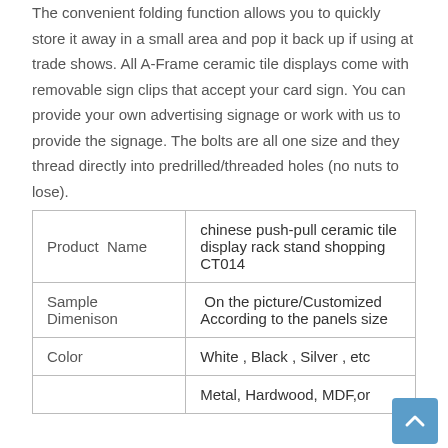The convenient folding function allows you to quickly store it away in a small area and pop it back up if using at trade shows. All A-Frame ceramic tile displays come with removable sign clips that accept your card sign. You can provide your own advertising signage or work with us to provide the signage. The bolts are all one size and they thread directly into predrilled/threaded holes (no nuts to lose).
| Product  Name | chinese push-pull ceramic tile display rack stand shopping CT014 |
| Sample  Dimenison | On the picture/Customized According to the panels size |
| Color | White , Black , Silver , etc |
|  | Metal, Hardwood, MDF,or |